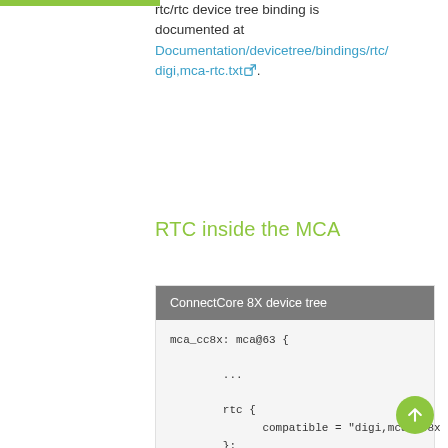rtc/rtc device tree binding is documented at Documentation/devicetree/bindings/rtc/digi,mca-rtc.txt.
RTC inside the MCA
[Figure (screenshot): Code block titled 'ConnectCore 8X device tree' showing device tree source snippet with mca_cc8x node containing rtc sub-node with compatible = "digi,mca-cc8x"]